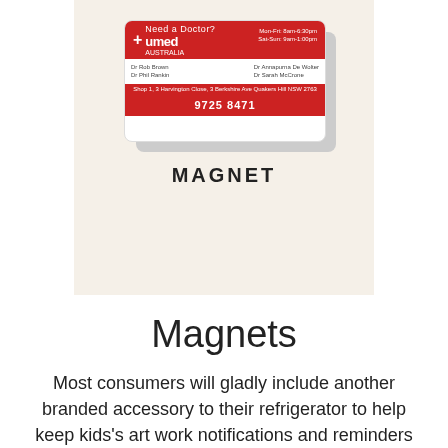[Figure (photo): Photo of a branded fridge magnet for 'umed Australia' medical service, shown on a beige/cream background with a shadow. The magnet is a business card style with a red header bar containing the umed logo and 'Need a Doctor?' text, contact information in the body, and a red footer bar with phone number '9725 8471'. Below the magnet image is the word 'MAGNET' in bold black letters.]
Magnets
Most consumers will gladly include another branded accessory to their refrigerator to help keep kids's art work notifications and reminders in place. When your promotional fridge magnet made that location of pride in the kitchen area your company contacts will have an everyday suggestion of your company's name and services. Are you looking for a method to promote your service in Tooradin without intruding on the consumer? If so, look no further than custom printed magnets in Australia. With so many choices offered when it pertains to this promotional product, you'll